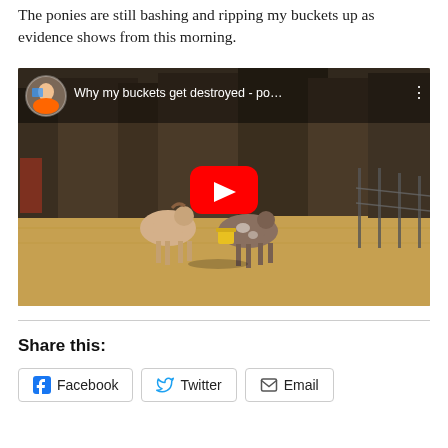The ponies are still bashing and ripping my buckets up as evidence shows from this morning.
[Figure (screenshot): YouTube video thumbnail showing two ponies in a dry field with a yellow bucket. Video title: 'Why my buckets get destroyed - po...' with YouTube play button overlay.]
Share this:
Facebook  Twitter  Email